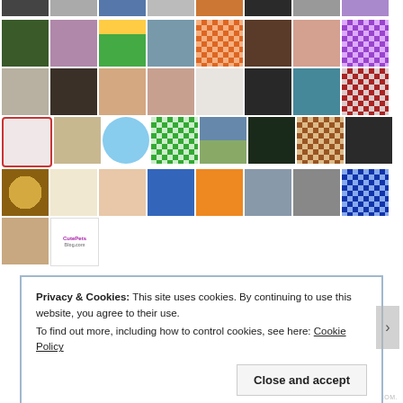[Figure (photo): A grid of user avatar/profile images arranged in rows, showing various people, patterns, illustrations, and logos. Approximately 8 columns and 6 rows of small square thumbnails including faces, decorative patterns, animals, landscapes, and icons.]
Privacy & Cookies: This site uses cookies. By continuing to use this website, you agree to their use.
To find out more, including how to control cookies, see here: Cookie Policy
Close and accept